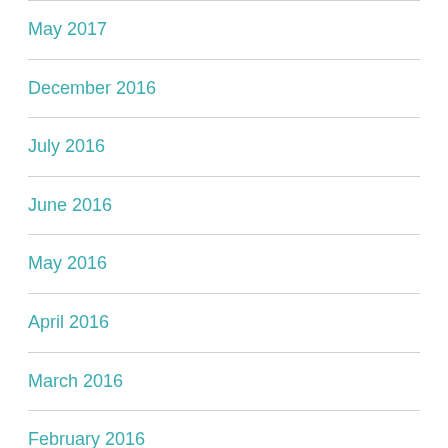May 2017
December 2016
July 2016
June 2016
May 2016
April 2016
March 2016
February 2016
January 2016
December 2015